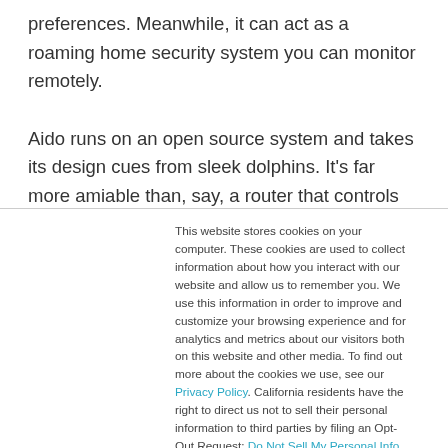preferences. Meanwhile, it can act as a roaming home security system you can monitor remotely.

Aido runs on an open source system and takes its design cues from sleek dolphins. It's far more amiable than, say, a router that controls all your connected devices. It's the most charming hub I've seen to date, and whatever my misgivings about
This website stores cookies on your computer. These cookies are used to collect information about how you interact with our website and allow us to remember you. We use this information in order to improve and customize your browsing experience and for analytics and metrics about our visitors both on this website and other media. To find out more about the cookies we use, see our Privacy Policy. California residents have the right to direct us not to sell their personal information to third parties by filing an Opt-Out Request: Do Not Sell My Personal Info.
Accept